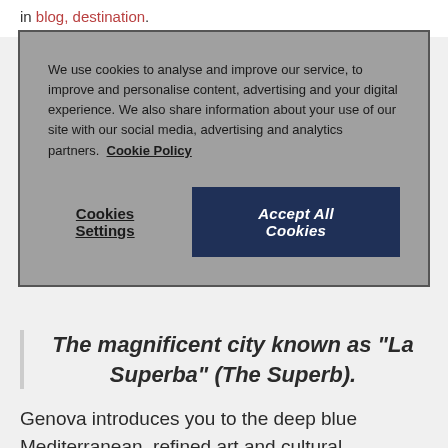in blog, destination.
We use cookies to analyse and improve our service, to improve and personalise content, advertising and your digital experience. We also share information about your use of our site with our social media, advertising and analytics partners. Cookie Policy
Cookies Settings
Accept All Cookies
The magnificent city known as "La Superba" (The Superb).
Genova introduces you to the deep blue Mediterranean, refined art and cultural traditions, fresh green gardens, surprising old port and sea innovation